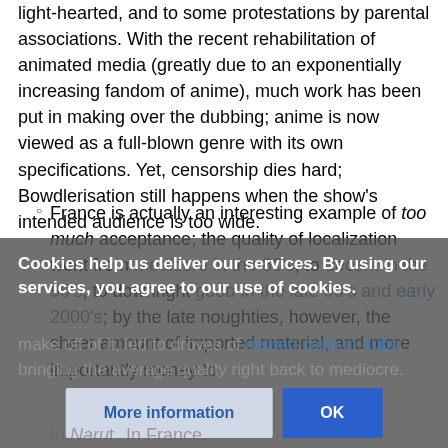light-hearted, and to some protestations by parental associations. With the recent rehabilitation of animated media (greatly due to an exponentially increasing fandom of anime), much work has been put in making over the dubbing; anime is now viewed as a full-blown genre with its own specifications. Yet, censorship dies hard; Bowdlerisation still happens when the show's intended audience is too wide.
France is actually an interesting example of too much acceptance; the quality of localization went from mediocre in the 80's, to decent in the 90's, to downright good in the late 90's and early 2000's; by the late noughties, however, the sheer amount of imported material, and more importantly money to make off of it, led to droves of rushed cash-in dubs bringing the average quality right back to mediocre.
Cookies help us deliver our services. By using our services, you agree to our use of cookies.
In Naruto ... In France,